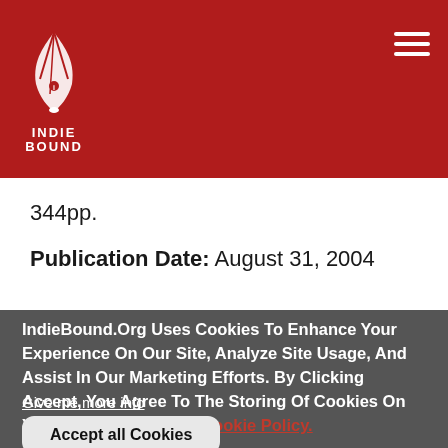[Figure (logo): IndieBound logo — white stylized book/hand graphic on red background with text INDIE BOUND below]
344pp.
Publication Date: August 31, 2004
IndieBound.Org Uses Cookies To Enhance Your Experience On Our Site, Analyze Site Usage, And Assist In Our Marketing Efforts. By Clicking Accept, You Agree To The Storing Of Cookies On Your Device. View Our Cookie Policy.
Give me more info
Accept all Cookies